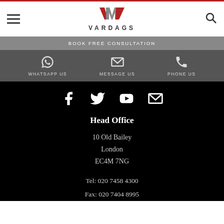[Figure (logo): VARDAGS law firm logo with stylized VM monogram in red and grey, text VARDAGS below in spaced capitals]
BOOK FREE CONSULTATION
WHATSAPP US   MESSAGE US   PHONE US
[Figure (infographic): Social media icons row: Facebook, Twitter, YouTube, Email/envelope on black background]
Head Office
10 Old Bailey
London
EC4M 7NG
Tel: 020 7458 4300
Fax: 020 7404 8995